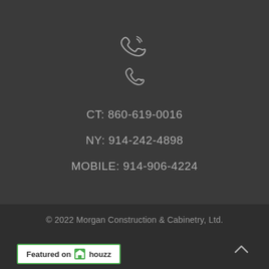[Figure (illustration): Phone/telephone handset icon in light gray outline style]
CT: 860-619-0016
NY: 914-242-4898
MOBILE: 914-906-4224
© 2022 Morgan Construction & Cabinetry, Ltd.
[Figure (logo): Featured on Houzz badge - white background with green border, showing house icon and 'houzz' text]
[Figure (illustration): Back to top chevron/arrow icon]